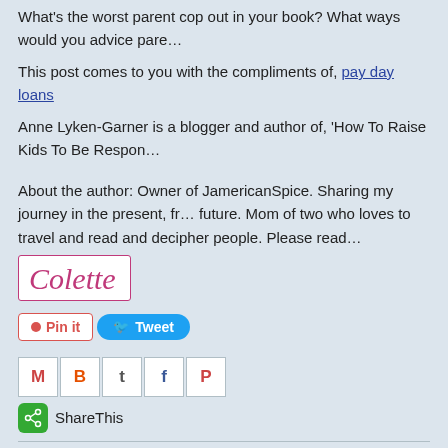What's the worst parent cop out in your book? What ways would you advice pare…
This post comes to you with the compliments of, pay day loans
Anne Lyken-Garner is a blogger and author of, 'How To Raise Kids To Be Respon…
About the author: Owner of JamericanSpice. Sharing my journey in the present, fr… future. Mom of two who loves to travel and read and decipher people. Please read…
[Figure (logo): Colette signature logo in pink cursive script inside a box]
[Figure (infographic): Pin It button and Tweet button side by side]
[Figure (infographic): Row of social share icon buttons: Gmail, Blogger, Twitter, Facebook, Pinterest]
[Figure (infographic): ShareThis green icon with ShareThis label]
Newer Post
Home